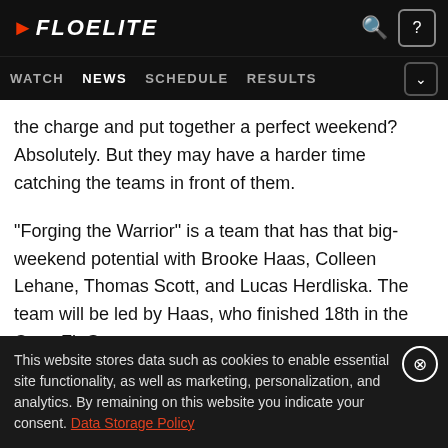FLOELITE — WATCH | NEWS | SCHEDULE | RESULTS
the charge and put together a perfect weekend? Absolutely. But they may have a harder time catching the teams in front of them.
“Forging the Warrior” is a team that has that big-weekend potential with Brooke Haas, Colleen Lehane, Thomas Scott, and Lucas Herdliska. The team will be led by Haas, who finished 18th in the CrossFit Games
This website stores data such as cookies to enable essential site functionality, as well as marketing, personalization, and analytics. By remaining on this website you indicate your consent. Data Storage Policy